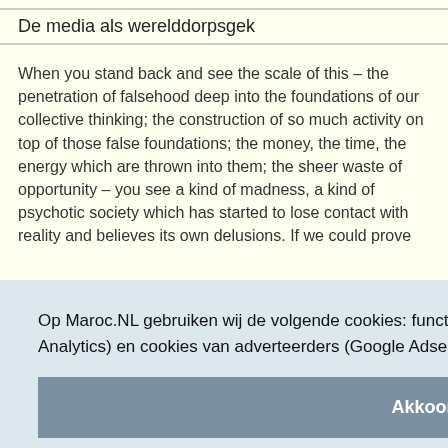De media als werelddorpsgek
When you stand back and see the scale of this – the penetration of falsehood deep into the foundations of our collective thinking; the construction of so much activity on top of those false foundations; the money, the time, the energy which are thrown into them; the sheer waste of opportunity – you see a kind of madness, a kind of psychotic society which has started to lose contact with reality and believes its own delusions. If we could prove
Op Maroc.NL gebruiken wij de volgende cookies: functionele cookies, statistische cookies (Google Analytics) en cookies van adverteerders (Google Adsense, Criteo, Awin).
Akkoord
oust
s now
e
http://www.soundcloud.com/hugo32